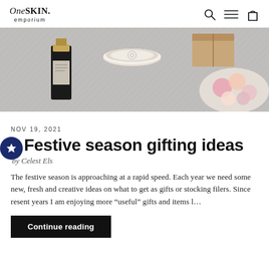OneSKIN. emporium
[Figure (photo): Overhead flatlay of skincare and gift items on a grey herringbone fabric: a dark glass bottle, a round gold-lidded candle, gift boxes, and a plate of pink and cream flowers]
NOV 19, 2021
Festive season gifting ideas
by Celest Els
The festive season is approaching at a rapid speed. Each year we need some new, fresh and creative ideas on what to get as gifts or stocking filers. Since resent years I am enjoying more “useful” gifts and items l...
Continue reading